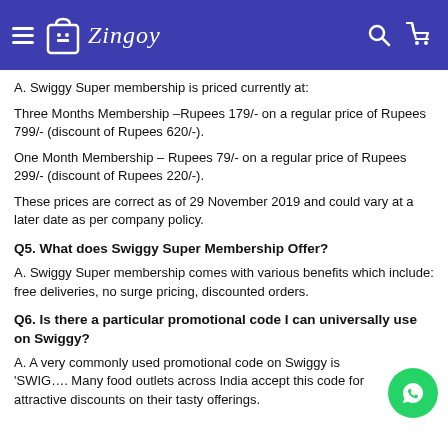Zingoy
A. Swiggy Super membership is priced currently at:
Three Months Membership –Rupees 179/- on a regular price of Rupees 799/- (discount of Rupees 620/-).
One Month Membership – Rupees 79/- on a regular price of Rupees 299/- (discount of Rupees 220/-).
These prices are correct as of 29 November 2019 and could vary at a later date as per company policy.
Q5. What does Swiggy Super Membership Offer?
A. Swiggy Super membership comes with various benefits which include: free deliveries, no surge pricing, discounted orders.
Q6. Is there a particular promotional code I can universally use on Swiggy?
A. A very commonly used promotional code on Swiggy is 'SWIG…. Many food outlets across India accept this code for attractive discounts on their tasty offerings.